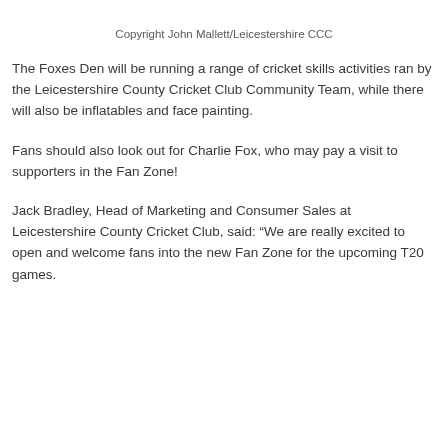Copyright John Mallett/Leicestershire CCC
The Foxes Den will be running a range of cricket skills activities ran by the Leicestershire County Cricket Club Community Team, while there will also be inflatables and face painting.
Fans should also look out for Charlie Fox, who may pay a visit to supporters in the Fan Zone!
Jack Bradley, Head of Marketing and Consumer Sales at Leicestershire County Cricket Club, said: “We are really excited to open and welcome fans into the new Fan Zone for the upcoming T20 games.